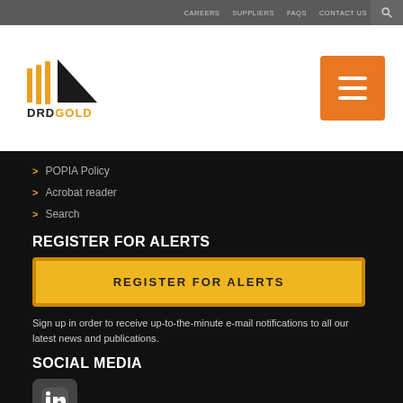CAREERS  SUPPLIERS  FAQS  CONTACT US
[Figure (logo): DRD GOLD LIMITED logo with gold triangle/stripes icon]
> POPIA Policy
> Acrobat reader
> Search
REGISTER FOR ALERTS
REGISTER FOR ALERTS (button)
Sign up in order to receive up-to-the minute e-mail notifications to all our latest news and publications.
SOCIAL MEDIA
[Figure (logo): LinkedIn icon]
SEARCH
SEARCH (input box)